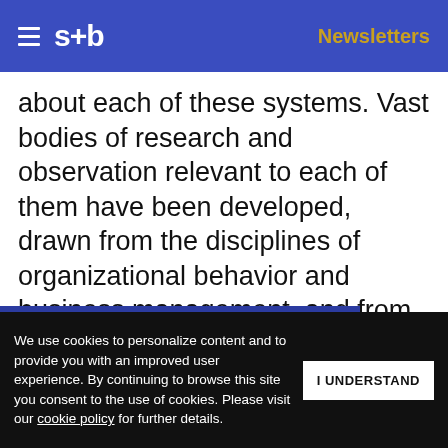s+b | Newsletters
about each of these systems. Vast bodies of research and observation relevant to each of them have been developed, drawn from the disciplines of organizational behavior and business management, and from other fields such as psychology, political science, economics, and anthropology. Most of that [knowledge has not been fully] synthesized; [no single business decisi]on maker can
Get s+b's award-winning newsletter delivered to your inbox.
We use cookies to personalize content and to provide you with an improved user experience. By continuing to browse this site you consent to the use of cookies. Please visit our cookie policy for further details.